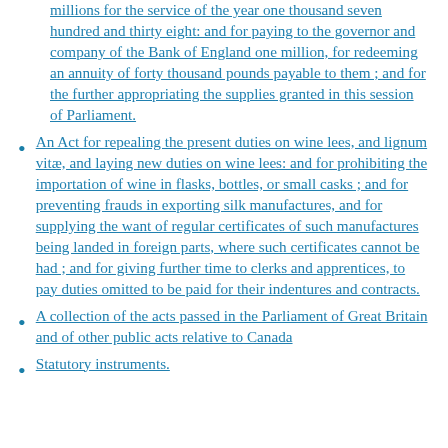millions for the service of the year one thousand seven hundred and thirty eight: and for paying to the governor and company of the Bank of England one million, for redeeming an annuity of forty thousand pounds payable to them ; and for the further appropriating the supplies granted in this session of Parliament.
An Act for repealing the present duties on wine lees, and lignum vitæ, and laying new duties on wine lees: and for prohibiting the importation of wine in flasks, bottles, or small casks ; and for preventing frauds in exporting silk manufactures, and for supplying the want of regular certificates of such manufactures being landed in foreign parts, where such certificates cannot be had ; and for giving further time to clerks and apprentices, to pay duties omitted to be paid for their indentures and contracts.
A collection of the acts passed in the Parliament of Great Britain and of other public acts relative to Canada
Statutory instruments.